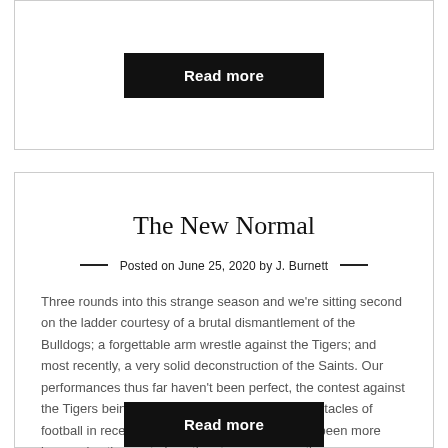[Figure (other): Read more button (black button with white bold text)]
The New Normal
Posted on June 25, 2020 by J. Burnett
Three rounds into this strange season and we're sitting second on the ladder courtesy of a brutal dismantlement of the Bulldogs; a forgettable arm wrestle against the Tigers; and most recently, a very solid deconstruction of the Saints. Our performances thus far haven't been perfect, the contest against the Tigers being one of the more forgettable spectacles of football in recent memory, but on balance we've been more impressive than not given the strange preparation.
[Figure (other): Read more button (black button with white bold text) at bottom]